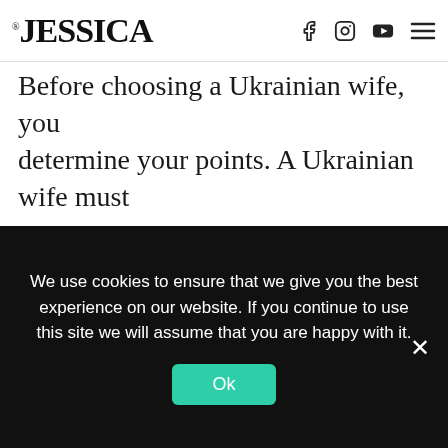JESSICA
Before choosing a Ukrainian wife, you must determine your points. A Ukrainian wife must match your lifestyle and become a woman that meets the basic requirements. If your priorities are not compatible, you should begin other criteria. A woman from Ukraine must not look like a reproduction of your beloved. This kind of woman will likely have another type of taste stylish than yours, and you will have to help to make compromises before wedding can take place.

In case you are serious about discovering a
We use cookies to ensure that we give you the best experience on our website. If you continue to use this site we will assume that you are happy with it.